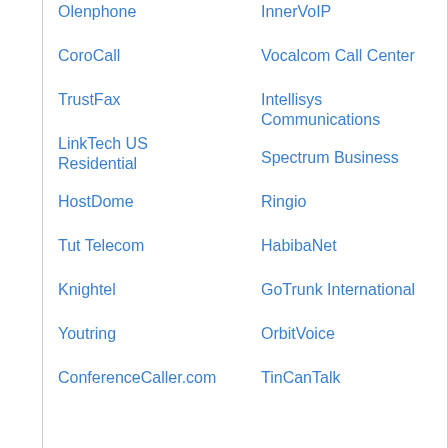Olenphone
InnerVoIP
CoroCall
Vocalcom Call Center
TrustFax
Intellisys Communications
LinkTech US Residential
Spectrum Business
HostDome
Ringio
Tut Telecom
HabibaNet
Knightel
GoTrunk International
Youtring
OrbitVoice
ConferenceCaller.com
TinCanTalk